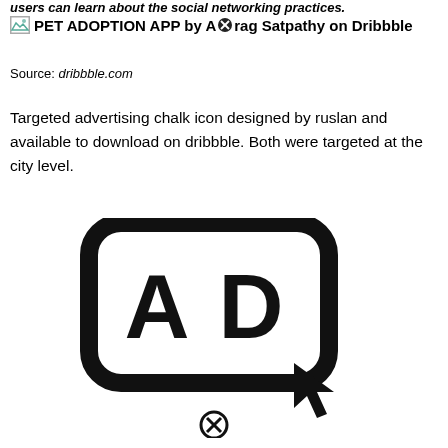users can learn about the social networking practices.
[Figure (screenshot): Broken image placeholder with text: PET ADOPTION APP by Anurag Satpathy on Dribbble]
Source: dribbble.com
Targeted advertising chalk icon designed by ruslan and available to download on dribbble. Both were targeted at the city level.
[Figure (illustration): Targeted advertising chalk icon showing AD letters inside a rounded rectangle with a cursor/pointer arrow and a close/block circle icon below]